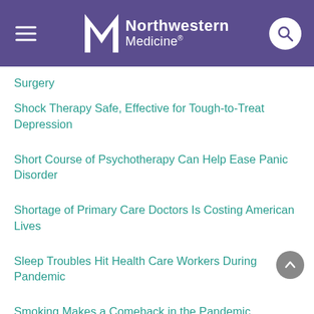Northwestern Medicine
Surgery
Shock Therapy Safe, Effective for Tough-to-Treat Depression
Short Course of Psychotherapy Can Help Ease Panic Disorder
Shortage of Primary Care Doctors Is Costing American Lives
Sleep Troubles Hit Health Care Workers During Pandemic
Smoking Makes a Comeback in the Pandemic
Social Media Tied to Higher Risk of Depression
Some Americans Can't Access Telemedicine, Study Shows